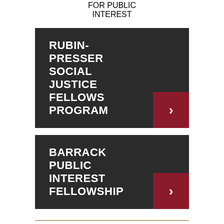FOR PUBLIC INTEREST
RUBIN-PRESSER SOCIAL JUSTICE FELLOWS PROGRAM
BARRACK PUBLIC INTEREST FELLOWSHIP
Andrew Bralow '77 Scholarship